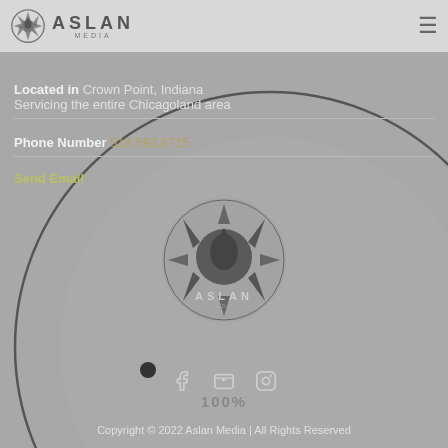Aslan Media — navigation header with logo and hamburger menu
Located in Crown Point, Indiana
Servicing the entire Chicagoland area
Phone Number 518.593.6715
Send Email
[Figure (logo): Aslan Media circular logo with camera aperture design, centered on grey background with decorative large circle]
[Figure (infographic): Social media icons: Facebook, YouTube, Instagram]
Copyright © 2022 Aslan Media | All Rights Reserved